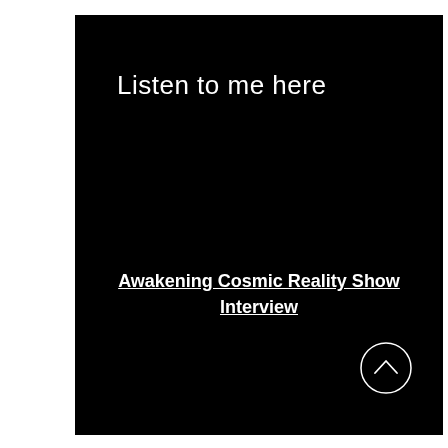Listen to me here
Awakening Cosmic Reality Show Interview
[Figure (other): Circle with upward chevron/caret arrow icon]